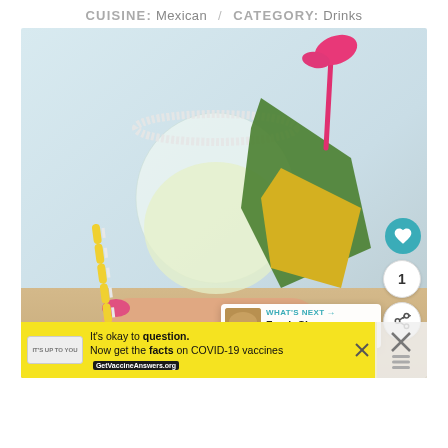CUISINE: Mexican / CATEGORY: Drinks
[Figure (photo): A hand holding a salted-rim margarita glass garnished with a fresh pineapple wedge and a pink flamingo drink stirrer. A yellow striped straw is visible in the background. The drink appears pale yellow/white. Social media overlay buttons (heart, count=1, share) are on the right side. A 'What's Next: Fresh Cherry Slab Pie' card appears in the lower right.]
WHAT'S NEXT → Fresh Cherry Slab Pie
It's okay to question. Now get the facts on COVID-19 vaccines. GetVaccineAnswers.org